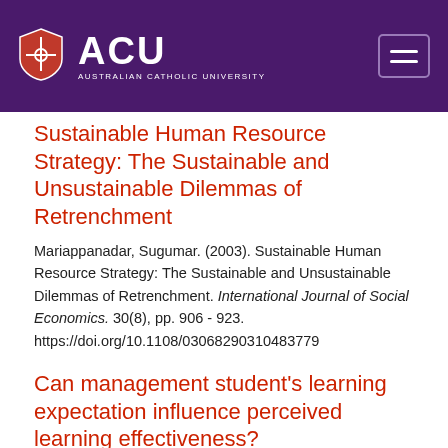ACU - Australian Catholic University
Sustainable Human Resource Strategy: The Sustainable and Unsustainable Dilemmas of Retrenchment
Mariappanadar, Sugumar. (2003). Sustainable Human Resource Strategy: The Sustainable and Unsustainable Dilemmas of Retrenchment. International Journal of Social Economics. 30(8), pp. 906 - 923. https://doi.org/10.1108/030682903104837 79
Can management student's learning expectation influence perceived learning effectiveness?
Mariappanadar, Sugumar. (2003). Can management